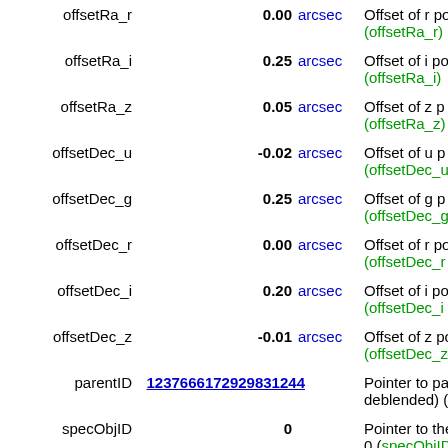| Name | Value | Unit | Description |
| --- | --- | --- | --- |
| offsetRa_r | 0.00 | arcsec | Offset of r po (offsetRa_r) |
| offsetRa_i | 0.25 | arcsec | Offset of i po (offsetRa_i) |
| offsetRa_z | 0.05 | arcsec | Offset of z p (offsetRa_z) |
| offsetDec_u | -0.02 | arcsec | Offset of u p (offsetDec_u) |
| offsetDec_g | 0.25 | arcsec | Offset of g p (offsetDec_g) |
| offsetDec_r | 0.00 | arcsec | Offset of r po (offsetDec_r) |
| offsetDec_i | 0.20 | arcsec | Offset of i po (offsetDec_i) |
| offsetDec_z | -0.01 | arcsec | Offset of z po (offsetDec_z) |
| parentID | 1237666172929831244 |  | Pointer to pa deblended) ( |
| specObjID | 0 |  | Pointer to the 0 (specObjID |
| u | 23.027 | mag | (i) [4/37.3] M filter AB sca (phot.mag;e |